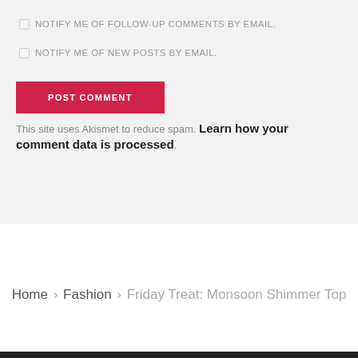NOTIFY ME OF FOLLOW-UP COMMENTS BY EMAIL.
NOTIFY ME OF NEW POSTS BY EMAIL.
POST COMMENT
This site uses Akismet to reduce spam. Learn how your comment data is processed.
Home › Fashion › Friday Treat: Monsoon Shimmer Top